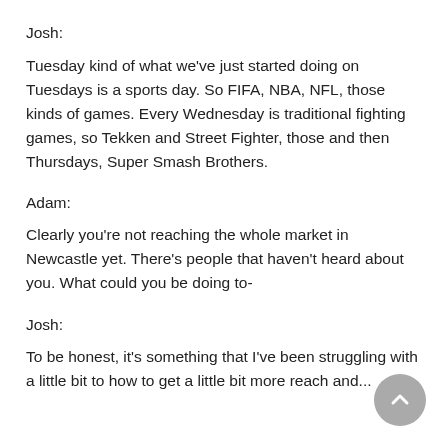Josh:
Tuesday kind of what we've just started doing on Tuesdays is a sports day. So FIFA, NBA, NFL, those kinds of games. Every Wednesday is traditional fighting games, so Tekken and Street Fighter, those and then Thursdays, Super Smash Brothers.
Adam:
Clearly you're not reaching the whole market in Newcastle yet. There's people that haven't heard about you. What could you be doing to-
Josh:
To be honest, it's something that I've been struggling with a little bit to how to get a little bit more reach and...